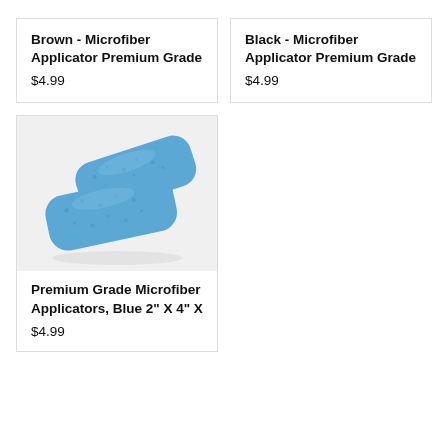Brown - Microfiber Applicator Premium Grade
$4.99
Black - Microfiber Applicator Premium Grade
$4.99
[Figure (photo): Two blue microfiber applicator pads stacked/overlapping on a light gray background]
Premium Grade Microfiber Applicators, Blue 2" X 4" X
$4.99